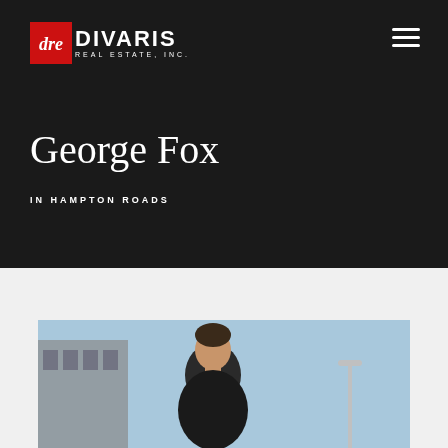[Figure (logo): Divaris Real Estate Inc. logo with red box containing stylized 'dre' letters and white DIVARIS text with REAL ESTATE, INC. subtitle]
George Fox
IN HAMPTON ROADS
[Figure (photo): Portrait photo of George Fox outdoors with blue sky background]